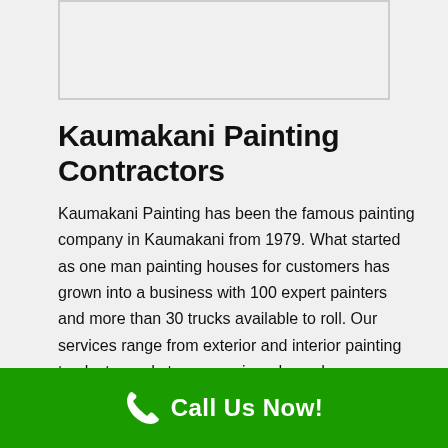[Figure (other): Empty bordered image box placeholder]
Kaumakani Painting Contractors
Kaumakani Painting has been the famous painting company in Kaumakani from 1979. What started as one man painting houses for customers has grown into a business with 100 expert painters and more than 30 trucks available to roll. Our services range from exterior and interior painting to plaster and stucco repair and wood replacement. Whatever job we're taking on, you can count on us to deliver quality work that will stand the test of time. Year after year, Kaumakani Painting earns the Angie's List Superior Service Award in Hawaii for our high quality house painting services and exceptional consumer service.
Call Us Now!